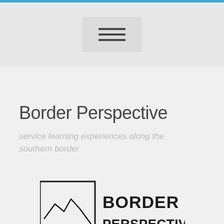Border Perspective
service learning experiences along the southern border
[Figure (logo): Border Perspective logo with a square containing a mountain/landscape silhouette line and bold text reading BORDER PERSPECTIVE]